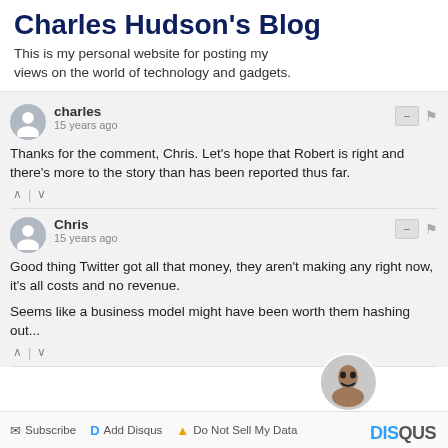Charles Hudson's Blog
This is my personal website for posting my views on the world of technology and gadgets.
charles
15 years ago
Thanks for the comment, Chris. Let's hope that Robert is right and there's more to the story than has been reported thus far.
Chris
15 years ago
Good thing Twitter got all that money, they aren't making any right now, it's all costs and no revenue.

Seems like a business model might have been worth them hashing out...
Subscribe  Add Disqus  Do Not Sell My Data  DISQUS